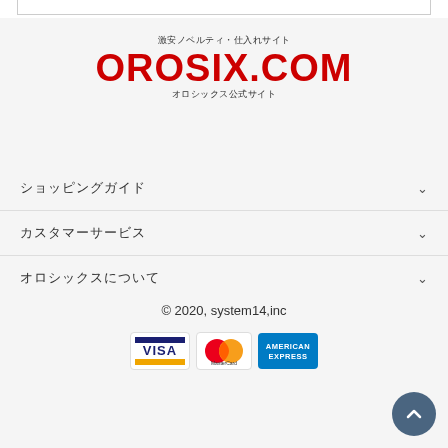[Figure (logo): OROSIX.COM logo with Japanese taglines: 激安ノベルティ・仕入れサイト above and オロシックス公式サイト below]
ショッピングガイド ∨
カスタマーサービス ∨
オロシックスについて ∨
© 2020, system14,inc
[Figure (logo): Payment method logos: VISA, MasterCard, American Express]